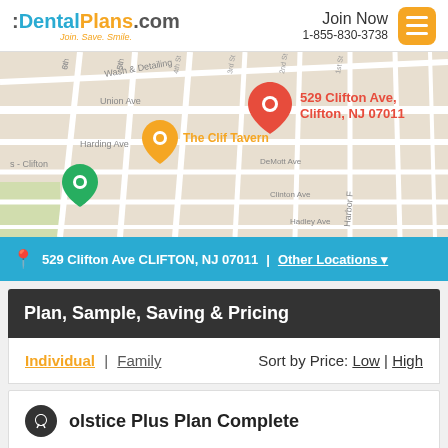:DentalPlans.com Join. Save. Smile. | Join Now 1-855-830-3738
[Figure (map): Google Maps street map showing 529 Clifton Ave, Clifton, NJ 07011 with a red location pin. Nearby landmarks include The Clif Tavern (orange pin) and another location (green pin). Streets visible include Union Ave, Harding Ave, 6th St, 5th St, 4th St, 3rd St, 2nd St, 1st St, DeMott Ave, Clinton Ave, Hadley Ave.]
📍 529 Clifton Ave CLIFTON, NJ 07011 | Other Locations ▾
Plan, Sample, Saving & Pricing
Individual | Family      Sort by Price: Low | High
olstice Plus Plan Complete